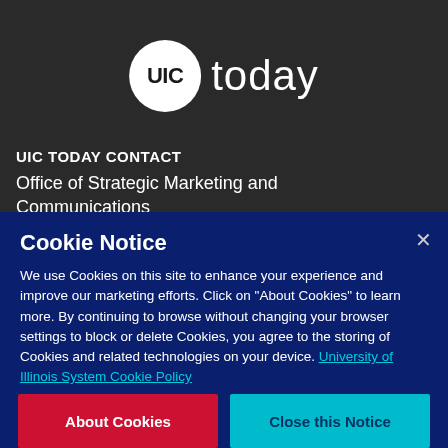[Figure (logo): UIC Today logo: white circle with 'UIC' text in black, followed by 'today' in white on dark background]
UIC TODAY CONTACT
Office of Strategic Marketing and Communications
Cookie Notice
We use Cookies on this site to enhance your experience and improve our marketing efforts. Click on "About Cookies" to learn more. By continuing to browse without changing your browser settings to block or delete Cookies, you agree to the storing of Cookies and related technologies on your device. University of Illinois System Cookie Policy
About Cookies
Close this Notice